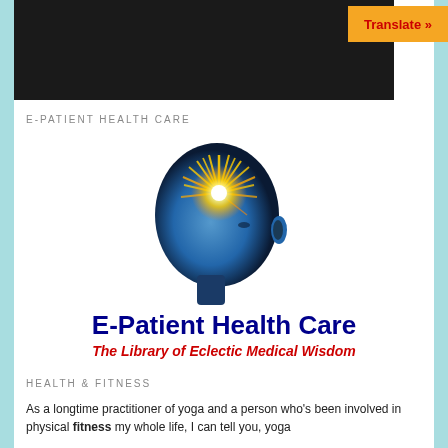[Figure (screenshot): Black header banner area of a website]
[Figure (other): Orange 'Translate »' button in top right corner]
E-PATIENT HEALTH CARE
[Figure (illustration): Blue human head profile with glowing golden light burst emanating from the brain area]
E-Patient Health Care
The Library of Eclectic Medical Wisdom
HEALTH & FITNESS
As a longtime practitioner of yoga and a person who's been involved in physical fitness my whole life, I can tell you, yoga